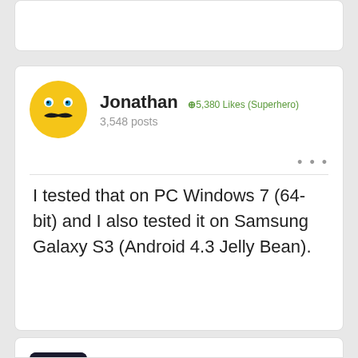[Figure (screenshot): Top partial white card (cut off at top of page)]
Jonathan  +5,380 Likes (Superhero)
3,548 posts
I tested that on PC Windows 7 (64-bit) and I also tested it on Samsung Galaxy S3 (Android 4.3 Jelly Bean).
Rodrigo  +4,058 Likes (Superhero)
2,114 posts
Hi